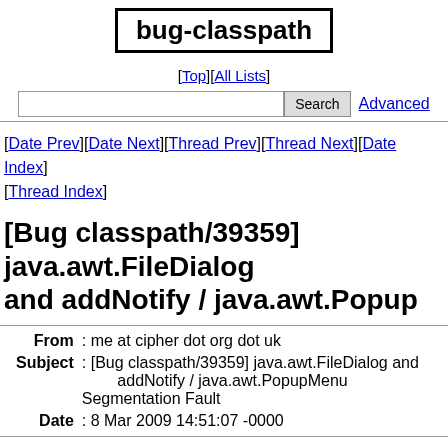bug-classpath
[Top][All Lists]
Search  Advanced
[Date Prev][Date Next][Thread Prev][Thread Next][Date Index][Thread Index]
[Bug classpath/39359] java.awt.FileDialog and addNotify / java.awt.Popup
| Field | Value |
| --- | --- |
| From | me at cipher dot org dot uk |
| Subject | [Bug classpath/39359] java.awt.FileDialog and addNotify / java.awt.PopupMenu Segmentation Fault |
| Date | 8 Mar 2009 14:51:07 -0000 |
------- Comment #4 from me at cipher dot org dot uk  2009
ok cool, after some more investigation, both these bugs b
JamVM and therefore I'll move them to JamVM's bug trackin

Though since both kaffe and jamvm either fail an assertio
(respectively), it seems that there is an issue within c